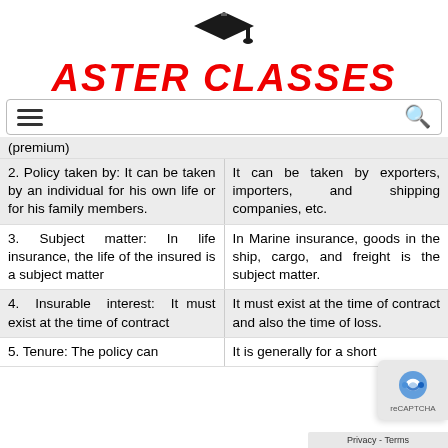[Figure (logo): Aster Classes logo with graduation cap icon and red italic bold text 'ASTER CLASSES']
Navigation bar with hamburger menu and search icon
(premium)
| 2. Policy taken by: It can be taken by an individual for his own life or for his family members. | It can be taken by exporters, importers, and shipping companies, etc. |
| 3. Subject matter: In life insurance, the life of the insured is a subject matter | In Marine insurance, goods in the ship, cargo, and freight is the subject matter. |
| 4. Insurable interest: It must exist at the time of contract | It must exist at the time of contract and also the time of loss. |
| 5. Tenure: The policy can | It is generally for a short |